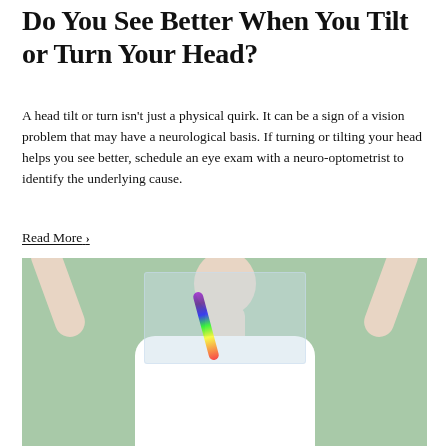Do You See Better When You Tilt or Turn Your Head?
A head tilt or turn isn't just a physical quirk. It can be a sign of a vision problem that may have a neurological basis. If turning or tilting your head helps you see better, schedule an eye exam with a neuro-optometrist to identify the underlying cause.
Read More ›
[Figure (photo): A person in a white t-shirt holding a transparent glass panel in front of their face with both hands raised. A rainbow spectrum is visible through the glass. The background is mint green.]